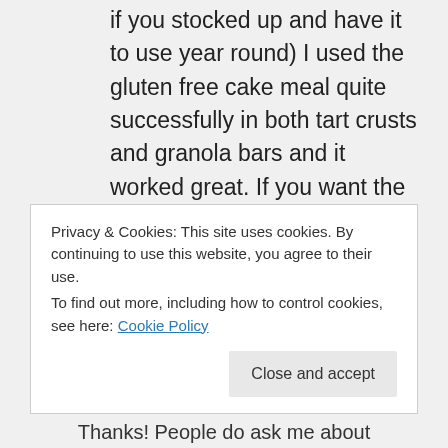if you stocked up and have it to use year round) I used the gluten free cake meal quite successfully in both tart crusts and granola bars and it worked great. If you want the recipes let me know. The gluten-free matzah style sheets ground up to matzah meal consistency made great matzah balls too.
★ Like
Log in to Reply
Privacy & Cookies: This site uses cookies. By continuing to use this website, you agree to their use.
To find out more, including how to control cookies, see here: Cookie Policy
Close and accept
Thanks! People do ask me about